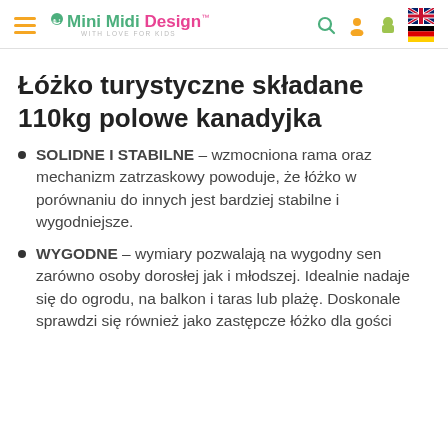Mini Midi Design — navigation header with logo and icons
Łóżko turystyczne składane 110kg polowe kanadyjka
SOLIDNE I STABILNE – wzmocniona rama oraz mechanizm zatrzaskowy powoduje, że łóżko w porównaniu do innych jest bardziej stabilne i wygodniejsze.
WYGODNE – wymiary pozwalają na wygodny sen zarówno osoby dorosłej jak i młodszej. Idealnie nadaje się do ogrodu, na balkon i taras lub plażę. Doskonale sprawdzi się również jako zastępcze łóżko dla gości